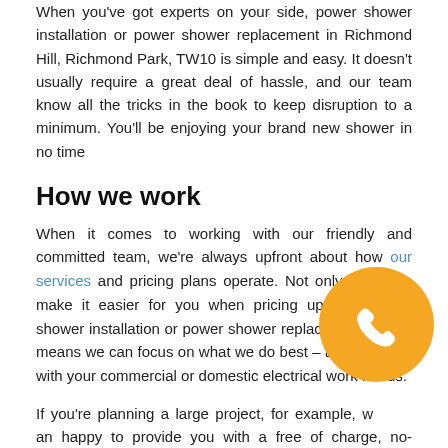When you've got experts on your side, power shower installation or power shower replacement in Richmond Hill, Richmond Park, TW10 is simple and easy. It doesn't usually require a great deal of hassle, and our team know all the tricks in the book to keep disruption to a minimum. You'll be enjoying your brand new shower in no time
How we work
When it comes to working with our friendly and committed team, we're always upfront about how our services and pricing plans operate. Not only does this make it easier for you when pricing up your power shower installation or power shower replacement, it also means we can focus on what we do best – assisting you with your commercial or domestic electrical work needs.
If you're planning a large project, for example, we can happy to provide you with a free of charge, no-obligation quote to give you an idea of how much our power shower installation services will cost. Usually, we charge on an hourly basis for our work
[Figure (illustration): Orange circular phone/call button icon with white telephone handset symbol]